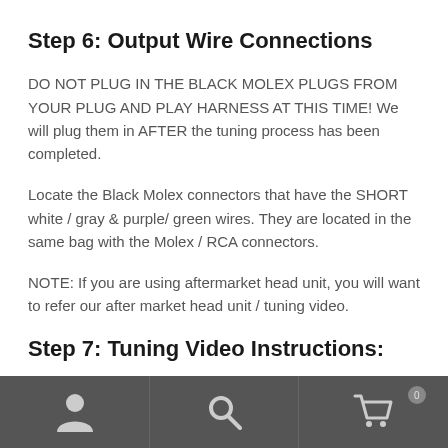Step 6: Output Wire Connections
DO NOT PLUG IN THE BLACK MOLEX PLUGS FROM YOUR PLUG AND PLAY HARNESS AT THIS TIME! We will plug them in AFTER the tuning process has been completed.
Locate the Black Molex connectors that have the SHORT white / gray & purple/ green wires. They are located in the same bag with the Molex / RCA connectors.
NOTE: If you are using aftermarket head unit, you will want to refer our after market head unit / tuning video.
Step 7: Tuning Video Instructions:
[Figure (screenshot): Mobile app navigation footer bar with three icons: user/profile icon, search icon, and shopping cart icon with badge showing quantity]